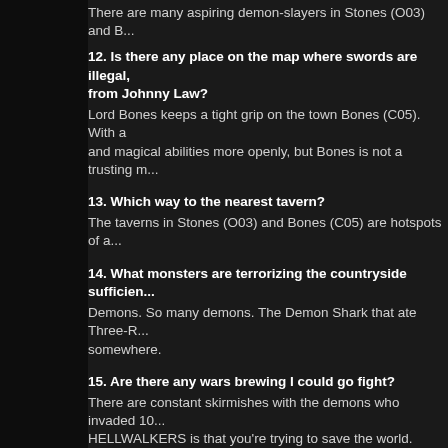There are many aspiring demon-slayers in Stones (O03) and B...
12. Is there any place on the map where swords are illegal, ... from Johnny Law?
Lord Bones keeps a tight grip on the town Bones (C05). With a ... and magical abilities more openly, but Bones is not a trusting m...
13. Which way to the nearest tavern?
The taverns in Stones (O03) and Bones (C05) are hotspots of a...
14. What monsters are terrorizing the countryside sufficien...
Demons. So many demons. The Demon Shark that ate Three-R... somewhere.
15. Are there any wars brewing I could go fight?
There are constant skirmishes with the demons who invaded 10... HELLWALKERS is that you're trying to save the world.
16. How about gladiatorial arenas complete with hard-won...
There are pit fights in Bones (C05). You can earn money and--... fabulous cash floating around in town.
17. Are there any secret societies with sinister agendas I co...
Your goal is to plumb the secrets of the demon invasion and sa...